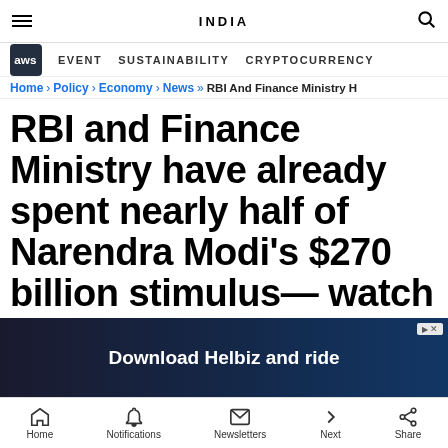INDIA
EVENT   SUSTAINABILITY   CRYPTOCURRENCY
Home › Policy › Economy › News » RBI And Finance Ministry H
RBI and Finance Ministry have already spent nearly half of Narendra Modi's $270 billion stimulus— watch out for the next big spe...
[Figure (screenshot): Download Helbiz and ride - advertisement overlay banner]
Home   Notifications   Newsletters   Next   Share